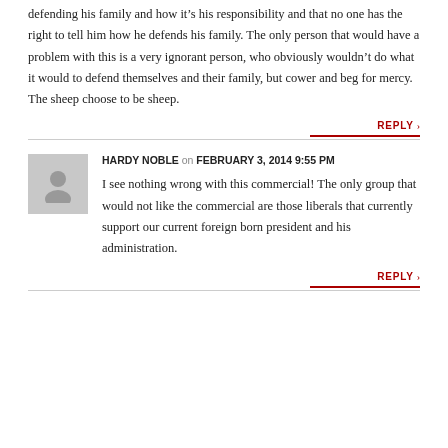defending his family and how it's his responsibility and that no one has the right to tell him how he defends his family. The only person that would have a problem with this is a very ignorant person, who obviously wouldn't do what it would to defend themselves and their family, but cower and beg for mercy. The sheep choose to be sheep.
REPLY
HARDY NOBLE on FEBRUARY 3, 2014 9:55 PM
I see nothing wrong with this commercial! The only group that would not like the commercial are those liberals that currently support our current foreign born president and his administration.
REPLY